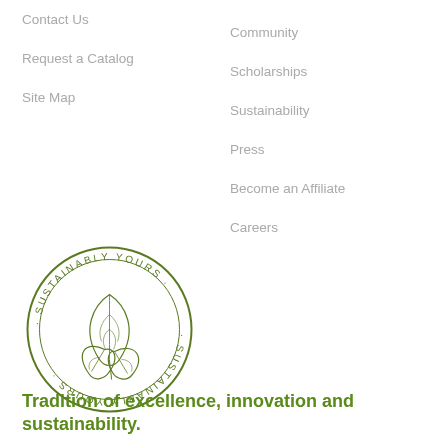Contact Us
Request a Catalog
Site Map
Community
Scholarships
Sustainability
Press
Become an Affiliate
Careers
[Figure (logo): Circular seal logo with leaves illustration in center and text 'SUSTAINABLY YOURS' curved around the top and 'SUSTAINABLY YOURS' mirrored/upside-down around the bottom, in olive green color.]
Tradition of excellence, innovation and sustainability.